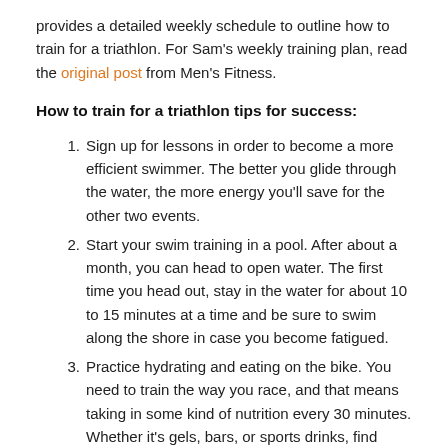provides a detailed weekly schedule to outline how to train for a triathlon. For Sam's weekly training plan, read the original post from Men's Fitness.
How to train for a triathlon tips for success:
Sign up for lessons in order to become a more efficient swimmer. The better you glide through the water, the more energy you'll save for the other two events.
Start your swim training in a pool. After about a month, you can head to open water. The first time you head out, stay in the water for about 10 to 15 minutes at a time and be sure to swim along the shore in case you become fatigued.
Practice hydrating and eating on the bike. You need to train the way you race, and that means taking in some kind of nutrition every 30 minutes. Whether it's gels, bars, or sports drinks, find what works for you and get in the habit of consuming it in motion